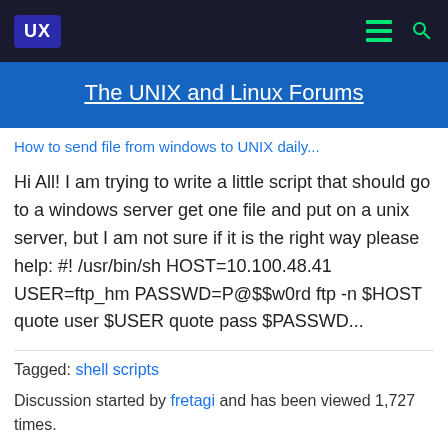UX | The UNIX and Linux Forums
The UNIX and Linux Forums
How to send file from windows to UNIX daily...
Hi All! I am trying to write a little script that should go to a windows server get one file and put on a unix server, but I am not sure if it is the right way please help: #! /usr/bin/sh HOST=10.100.48.41 USER=ftp_hm PASSWD=P@$$w0rd ftp -n $HOST quote user $USER quote pass $PASSWD...
Tagged: shell scripts
Discussion started by fretagi and has been viewed 1,727 times.